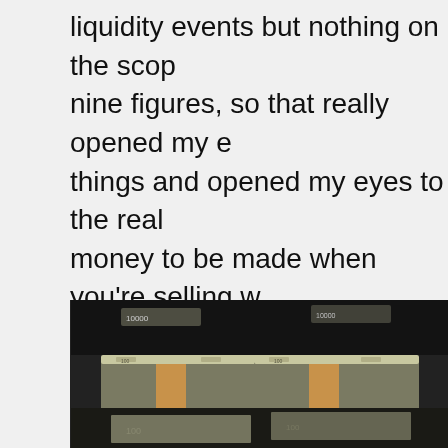liquidity events but nothing on the scope of nine figures, so that really opened my eyes to things and opened my eyes to the real money to be made when you're selling with liquidity events rather than building the business, taking a salary, things like that. The goal should always be what do I have to do to put this business in a position to be sold or acquired.
[Figure (photo): Stacks of bundled US $100 bills on a dark surface, photographed from above at an angle.]